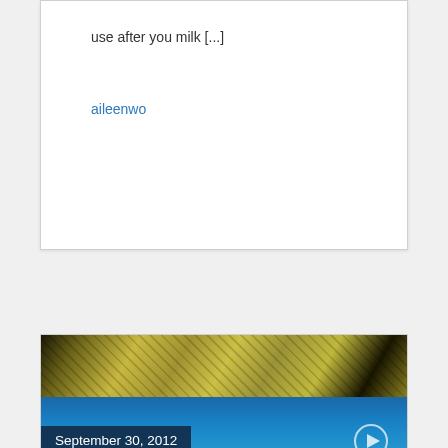use after you milk [...]
aileenwo
[Figure (photo): Close-up photo of okara cookies — crumbly greenish-yellow textured cookies on a white plate, with dark chocolate chips visible, shown partially with a blue gradient overlay and a play button icon in the lower right. Date badge reads September 30, 2012.]
September 30, 2012
Okara Cookies Recipe